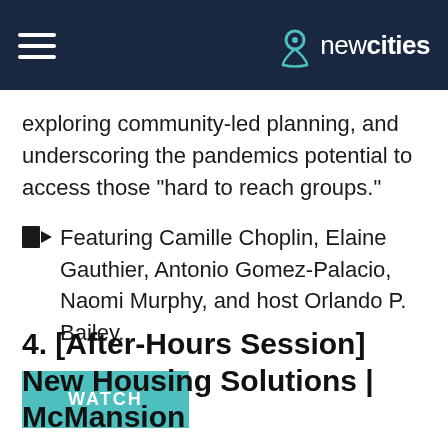newcities
exploring community-led planning, and underscoring the pandemics potential to access those “hard to reach groups.”
■▶ Featuring Camille Choplin, Elaine Gauthier, Antonio Gomez-Palacio, Naomi Murphy, and host Orlando P. Bailey.
WATCH
4. [After-Hours Session] New Housing Solutions | McMansion